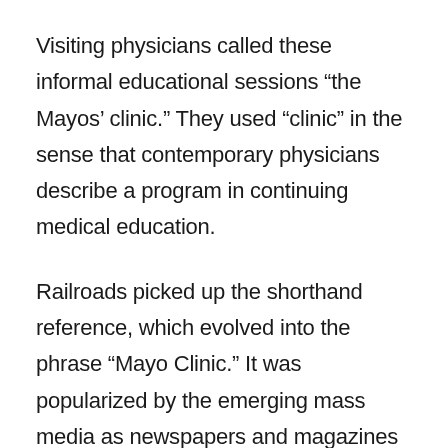Visiting physicians called these informal educational sessions “the Mayos’ clinic.” They used “clinic” in the sense that contemporary physicians describe a program in continuing medical education.
Railroads picked up the shorthand reference, which evolved into the phrase “Mayo Clinic.” It was popularized by the emerging mass media as newspapers and magazines reached a national audience.
Certainly “Mayo Clinic” was preferable to the official title of the institution at that time. Like most professional organizations, its title was a list of partners’ names, which grew longer as more